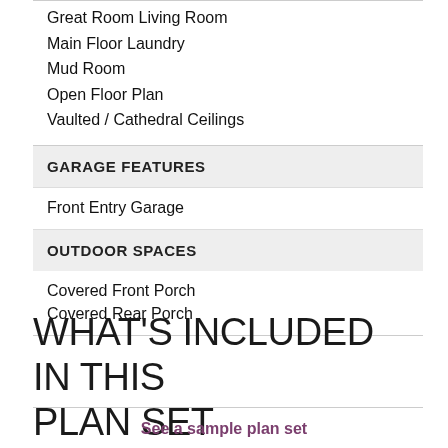Great Room Living Room
Main Floor Laundry
Mud Room
Open Floor Plan
Vaulted / Cathedral Ceilings
GARAGE FEATURES
Front Entry Garage
OUTDOOR SPACES
Covered Front Porch
Covered Rear Porch
WHAT'S INCLUDED IN THIS PLAN SET
See a sample plan set